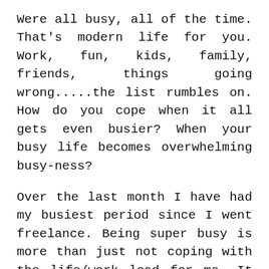Were all busy, all of the time. That's modern life for you. Work, fun, kids, family, friends, things going wrong.....the list rumbles on. How do you cope when it all gets even busier? When your busy life becomes overwhelming busy-ness?
Over the last month I have had my busiest period since I went freelance. Being super busy is more than just not coping with the life/work load for me. It also comes with a threat to my wellbeing. If I over do it, my breathing can suffer and then everything I'm doing comes under threat. Maintaining an even keel in the midst of the chaos is an essential skill for...